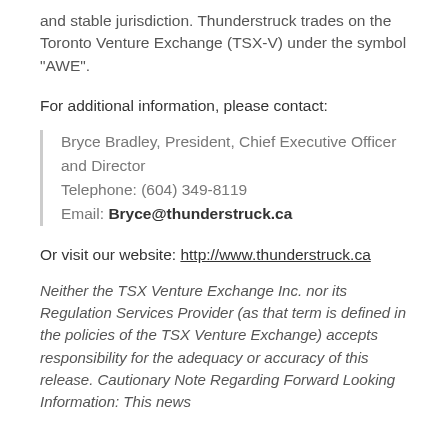and stable jurisdiction. Thunderstruck trades on the Toronto Venture Exchange (TSX-V) under the symbol "AWE".
For additional information, please contact:
Bryce Bradley, President, Chief Executive Officer and Director
Telephone: (604) 349-8119
Email: Bryce@thunderstruck.ca
Or visit our website: http://www.thunderstruck.ca
Neither the TSX Venture Exchange Inc. nor its Regulation Services Provider (as that term is defined in the policies of the TSX Venture Exchange) accepts responsibility for the adequacy or accuracy of this release. Cautionary Note Regarding Forward Looking Information: This news